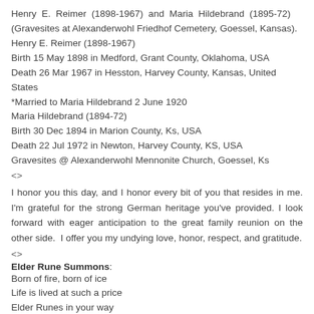Henry E. Reimer (1898-1967) and Maria Hildebrand (1895-72) (Gravesites at Alexanderwohl Friedhof Cemetery, Goessel, Kansas).
Henry E. Reimer (1898-1967)
Birth 15 May 1898 in Medford, Grant County, Oklahoma, USA
Death 26 Mar 1967 in Hesston, Harvey County, Kansas, United States
*Married to Maria Hildebrand 2 June 1920
Maria Hildebrand (1894-72)
Birth 30 Dec 1894 in Marion County, Ks, USA
Death 22 Jul 1972 in Newton, Harvey County, KS, USA
Gravesites @ Alexanderwohl Mennonite Church, Goessel, Ks
<>
I honor you this day, and I honor every bit of you that resides in me. I'm grateful for the strong German heritage you've provided. I look forward with eager anticipation to the great family reunion on the other side. I offer you my undying love, honor, respect, and gratitude.
<>
Elder Rune Summons:
Born of fire, born of ice
Life is lived at such a price
Elder Runes in your way